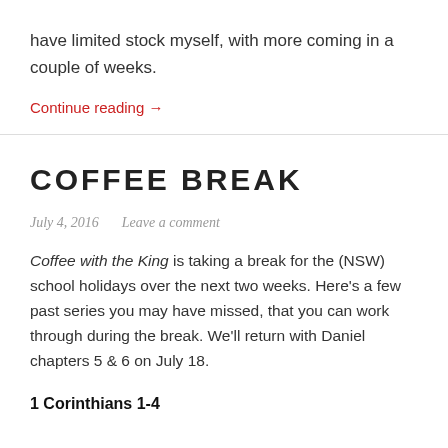have limited stock myself, with more coming in a couple of weeks.
Continue reading →
COFFEE BREAK
July 4, 2016   Leave a comment
Coffee with the King is taking a break for the (NSW) school holidays over the next two weeks. Here's a few past series you may have missed, that you can work through during the break. We'll return with Daniel chapters 5 & 6 on July 18.
1 Corinthians 1-4